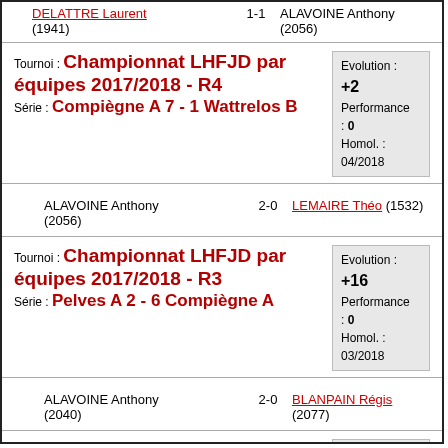DELATTRE Laurent (1941) 1-1 ALAVOINE Anthony (2056)
Tournoi : Championnat LHFJD par équipes 2017/2018 - R4 | Série : Compiègne A 7 - 1 Wattrelos B
Evolution : +2 Performance : 0 Homol. : 04/2018
ALAVOINE Anthony (2056) 2-0 LEMAIRE Théo (1532)
Tournoi : Championnat LHFJD par équipes 2017/2018 - R3 | Série : Pelves A 2 - 6 Compiègne A
Evolution : +16 Performance : 0 Homol. : 03/2018
ALAVOINE Anthony (2040) 2-0 BLANPAIN Régis (2077)
Tournoi : championnat ligue HDF 2017-18 homologation journée 2
Evolution : +11 Performance : 0